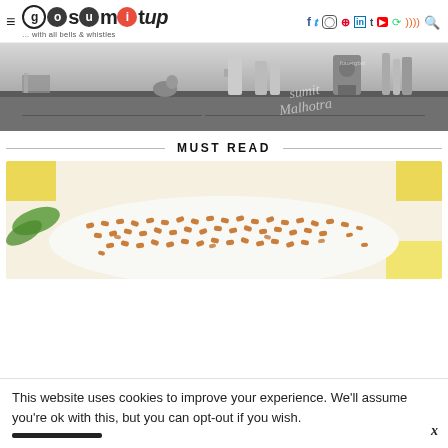gosumitup ... with all bells & whistles — navigation header with social icons
[Figure (photo): Black and white photo of a kitchen counter with coffee/kitchen appliances, tools, and a decorative bird. Cursive text overlay visible on right side.]
MUST READ
[Figure (photo): Close-up photo of fenugreek seeds (methi) in a white bowl, with green leaves and yellow elements visible in the background.]
This website uses cookies to improve your experience. We'll assume you're ok with this, but you can opt-out if you wish.